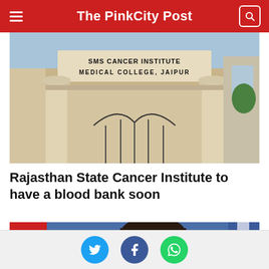The PinkCity Post
[Figure (photo): Entrance gate of SMS Cancer Institute / Medical College, Jaipur. Stone building with classical columns and signage reading 'SMS CANCER INSTITUTE MEDICAL COLLEGE, JAIPUR'. Ornate iron gate visible below.]
Rajasthan State Cancer Institute to have a blood bank soon
[Figure (photo): Close-up photo of a man's face against a blue background. Item numbered 4 in the article list.]
Social share buttons: Twitter, Facebook, WhatsApp